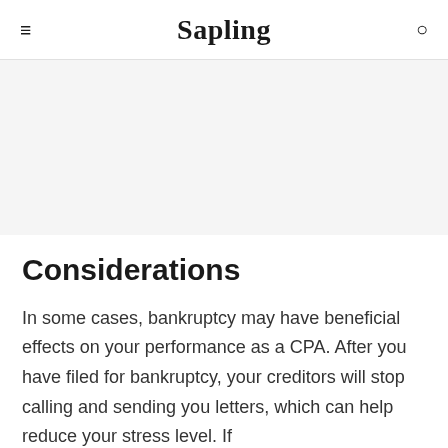Sapling
Considerations
In some cases, bankruptcy may have beneficial effects on your performance as a CPA. After you have filed for bankruptcy, your creditors will stop calling and sending you letters, which can help reduce your stress level. If